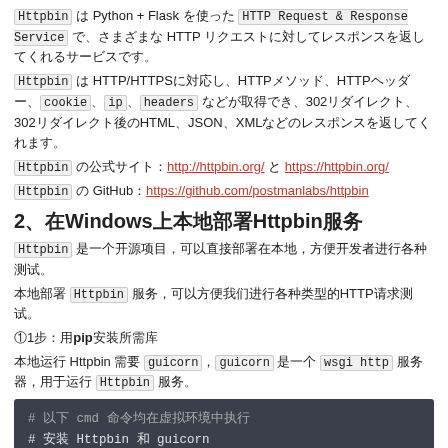Httpbin は Python + Flask を使った HTTP Request & Response Service で、さまざまな HTTP リクエストに対してレスポンスを返してくれるサービスです。
Httpbin は HTTP/HTTPS に対応し、HTTP メソッド、HTTP ヘッダー、cookie、ip、headers などが取得でき、302リダイレクト、302リダイレクト後のHTML、JSON、XML などのレスポンスを返してくれます。
Httpbin の公式サイト：http://httpbin.org/ と https://httpbin.org/
Httpbin の GitHub：https://github.com/postmanlabs/httpbin
2、在Windows上本地部署Httpbin服务
Httpbin 是一个开源项目，可以直接部署在本地，方便开发者进行测试。
本地部署 Httpbin 服务，可以方便我们进行各种类型的HTTP请求测试。
①1步：用pip安装所需库
本地运行 Httpbin 需要 guicorn，guicorn 是一个 wsgi http 服务器，用于运行 Httpbin 服务。
# 以下 cmd 命令均在虚拟环境中执行
# 安装 Httpbin 和 guicorn
pip install gunicorn
pip install httpbin